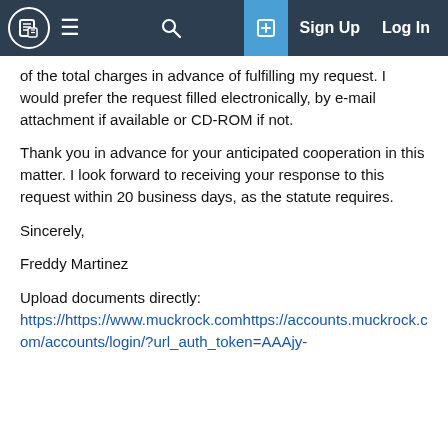MuckRock navigation bar with logo, hamburger menu, search, tab icon, Sign Up, Log In
of the total charges in advance of fulfilling my request. I would prefer the request filled electronically, by e-mail attachment if available or CD-ROM if not.
Thank you in advance for your anticipated cooperation in this matter. I look forward to receiving your response to this request within 20 business days, as the statute requires.
Sincerely,
Freddy Martinez
Upload documents directly:
https://https://www.muckrock.comhttps://accounts.muckrock.com/accounts/login/?url_auth_token=AAAjy-